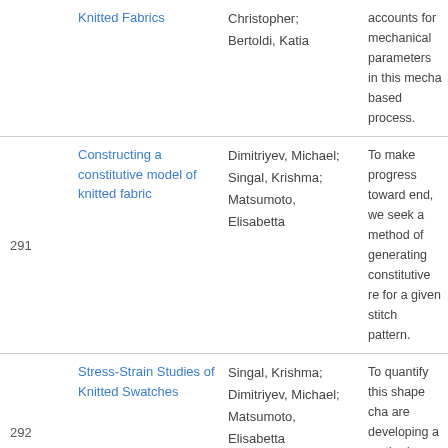| # | Title | Authors | Abstract |
| --- | --- | --- | --- |
|  | Knitted Fabrics | Christopher; Bertoldi, Katia | accounts for mechanical parameters in this mecha based process. |
| 291 | Constructing a constitutive model of knitted fabric | Dimitriyev, Michael; Singal, Krishma; Matsumoto, Elisabetta | To make progress toward end, we seek a method of generating constitutive re for a given stitch pattern. |
| 292 | Stress-Strain Studies of Knitted Swatches | Singal, Krishma; Dimitriyev, Michael; Matsumoto, Elisabetta | To quantify this shape cha are developing a method tracking the 3D path of th |
| 293 | Emergent yarns and fabrics by twist origami | Chopin, Julien; Kudrolli, Arshad | Thus, we propose an origa starting with an inextensib with a prescribed number triangular folds correspon those observed at the ons transverse wrinkling of the |